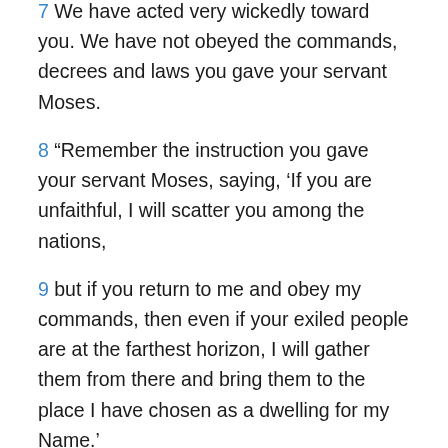7 We have acted very wickedly toward you. We have not obeyed the commands, decrees and laws you gave your servant Moses.
8 “Remember the instruction you gave your servant Moses, saying, ‘If you are unfaithful, I will scatter you among the nations,
9 but if you return to me and obey my commands, then even if your exiled people are at the farthest horizon, I will gather them from there and bring them to the place I have chosen as a dwelling for my Name.’